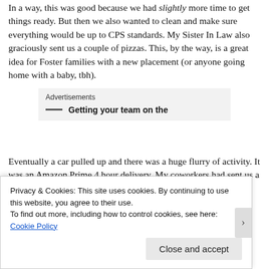In a way, this was good because we had slightly more time to get things ready. But then we also wanted to clean and make sure everything would be up to CPS standards. My Sister In Law also graciously sent us a couple of pizzas. This, by the way, is a great idea for Foster families with a new placement (or anyone going home with a baby, tbh).
[Figure (other): Advertisements banner with text 'Getting your team on the']
Eventually a car pulled up and there was a huge flurry of activity. It was an Amazon Prime 4 hour delivery. My coworkers had sent us a delivery of formula and bottle and Ble. I think we sort of freaked the delivery driver
Privacy & Cookies: This site uses cookies. By continuing to use this website, you agree to their use.
To find out more, including how to control cookies, see here: Cookie Policy